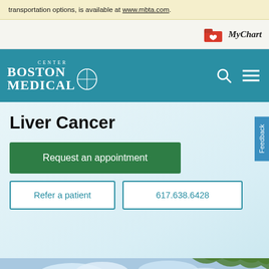transportation options, is available at www.mbta.com.
[Figure (logo): MyChart logo with red folder icon]
[Figure (logo): Boston Medical Center logo - white text on teal nav bar with search and menu icons]
Liver Cancer
Request an appointment
Refer a patient
617.638.6428
[Figure (photo): Exterior photo of Boston Medical Center building with blue sky and green tree branches visible]
Feedback